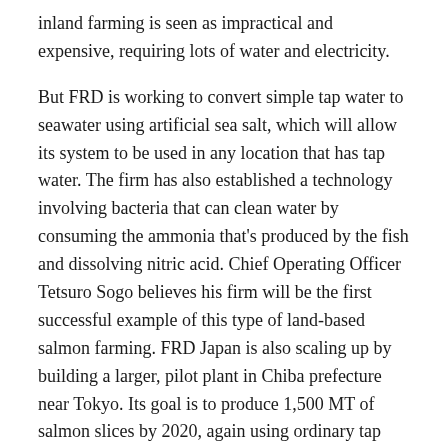inland farming is seen as impractical and expensive, requiring lots of water and electricity.
But FRD is working to convert simple tap water to seawater using artificial sea salt, which will allow its system to be used in any location that has tap water. The firm has also established a technology involving bacteria that can clean water by consuming the ammonia that's produced by the fish and dissolving nitric acid. Chief Operating Officer Tetsuro Sogo believes his firm will be the first successful example of this type of land-based salmon farming. FRD Japan is also scaling up by building a larger, pilot plant in Chiba prefecture near Tokyo. Its goal is to produce 1,500 MT of salmon slices by 2020, again using ordinary tap water.
(Photos below: FRD Chief Operating Officer Tetsuro Sogo monitors water conditions in his land-based salmon farm. Credit: FRD Japan)